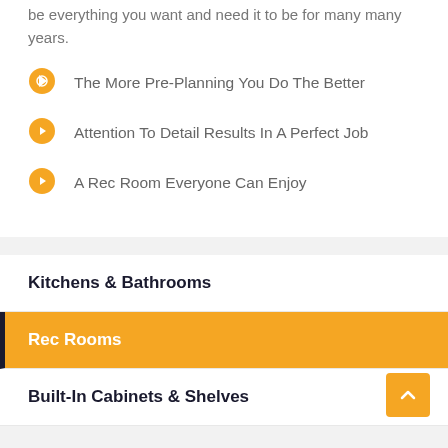be everything you want and need it to be for many many years.
The More Pre-Planning You Do The Better
Attention To Detail Results In A Perfect Job
A Rec Room Everyone Can Enjoy
Kitchens & Bathrooms
Rec Rooms
Built-In Cabinets & Shelves